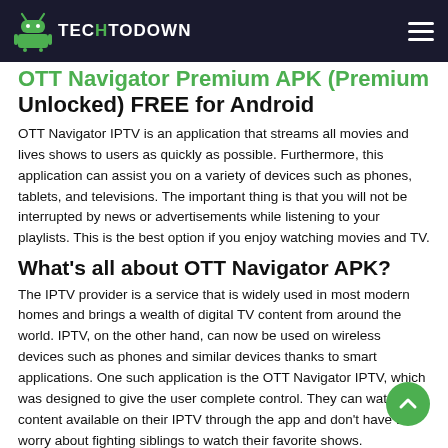Techtodown — navigation header with logo and hamburger menu
OTT Navigator Premium APK (Premium Unlocked) FREE for Android
OTT Navigator IPTV is an application that streams all movies and lives shows to users as quickly as possible. Furthermore, this application can assist you on a variety of devices such as phones, tablets, and televisions. The important thing is that you will not be interrupted by news or advertisements while listening to your playlists. This is the best option if you enjoy watching movies and TV.
What's all about OTT Navigator APK?
The IPTV provider is a service that is widely used in most modern homes and brings a wealth of digital TV content from around the world. IPTV, on the other hand, can now be used on wireless devices such as phones and similar devices thanks to smart applications. One such application is the OTT Navigator IPTV, which was designed to give the user complete control. They can watch any content available on their IPTV through the app and don't have to worry about fighting siblings to watch their favorite shows.